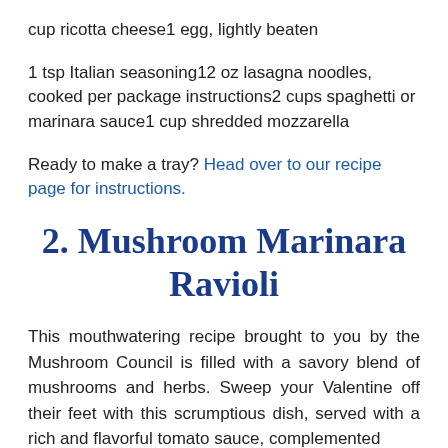cup ricotta cheese1 egg, lightly beaten
1 tsp Italian seasoning12 oz lasagna noodles, cooked per package instructions2 cups spaghetti or marinara sauce1 cup shredded mozzarella
Ready to make a tray? Head over to our recipe page for instructions.
2. Mushroom Marinara Ravioli
This mouthwatering recipe brought to you by the Mushroom Council is filled with a savory blend of mushrooms and herbs. Sweep your Valentine off their feet with this scrumptious dish, served with a rich and flavorful tomato sauce, complemented